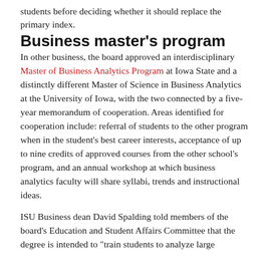students before deciding whether it should replace the primary index.
Business master's program
In other business, the board approved an interdisciplinary Master of Business Analytics Program at Iowa State and a distinctly different Master of Science in Business Analytics at the University of Iowa, with the two connected by a five-year memorandum of cooperation. Areas identified for cooperation include: referral of students to the other program when in the student's best career interests, acceptance of up to nine credits of approved courses from the other school's program, and an annual workshop at which business analytics faculty will share syllabi, trends and instructional ideas.
ISU Business dean David Spalding told members of the board's Education and Student Affairs Committee that the degree is intended to "train students to analyze large